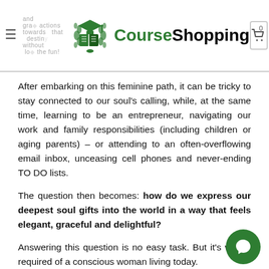CourseShopping
After embarking on this feminine path, it can be tricky to stay connected to our soul's calling, while, at the same time, learning to be an entrepreneur, navigating our work and family responsibilities (including children or aging parents) – or attending to an often-overflowing email inbox, unceasing cell phones and never-ending TO DO lists.
The question then becomes: how do we express our deepest soul gifts into the world in a way that feels elegant, graceful and delightful?
Answering this question is no easy task. But it's what's required of a conscious woman living today.